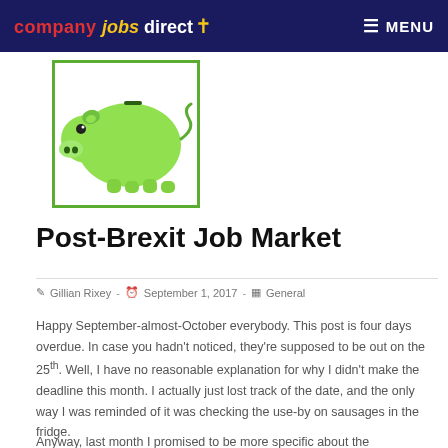company jobs direct MENU
[Figure (illustration): Green cartoon piggy bank with dark spots, facing left, inside a green-bordered box]
Post-Brexit Job Market
Gillian Rixey  -  September 1, 2017  -  General
Happy September-almost-October everybody. This post is four days overdue. In case you hadn't noticed, they're supposed to be out on the 25th. Well, I have no reasonable explanation for why I didn't make the deadline this month. I actually just lost track of the date, and the only way I was reminded of it was checking the use-by on sausages in the fridge.
Anyway, last month I promised to be more specific about the